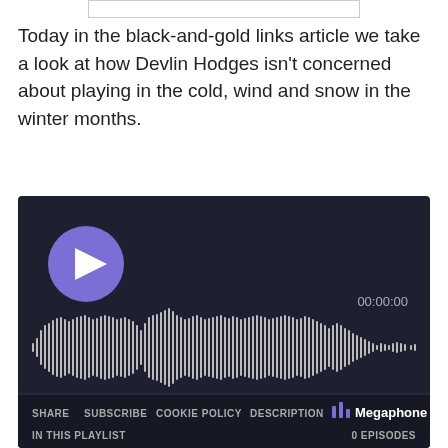Today in the black-and-gold links article we take a look at how Devlin Hodges isn't concerned about playing in the cold, wind and snow in the winter months.
[Figure (screenshot): A podcast audio player widget with a dark background. Shows a play button (purple circle with triangle), a waveform visualization, timestamp 00:00:00, and a footer bar with SHARE, SUBSCRIBE, COOKIE POLICY, DESCRIPTION links, Megaphone branding, and IN THIS PLAYLIST / 0 EPISODES info.]